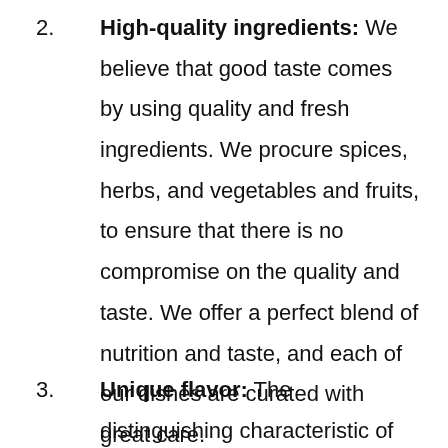2. High-quality ingredients: We believe that good taste comes by using quality and fresh ingredients. We procure spices, herbs, and vegetables and fruits, to ensure that there is no compromise on the quality and taste. We offer a perfect blend of nutrition and taste, and each of our dishes are curated with great care.
3. Unique flavor: The distinguishing characteristic of our food is the fusion of